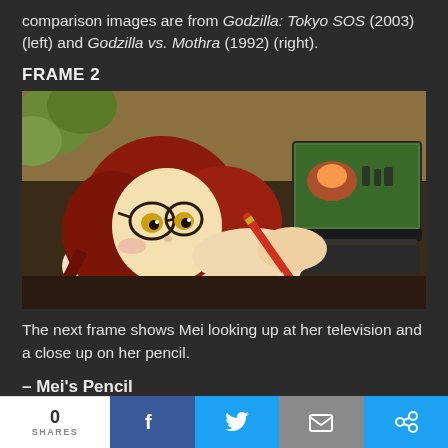comparison images are from Godzilla: Tokyo SOS (2003) (left) and Godzilla vs. Mothra (1992) (right).
FRAME 2
[Figure (illustration): Anime illustration of a red-haired girl with glasses holding a pencil, looking at a laptop screen showing a Godzilla scene]
The next frame shows Mei looking up at her television and a close up on her pencil.
– Mei's Pencil
0 SHARES | Facebook | Twitter | Email | Share